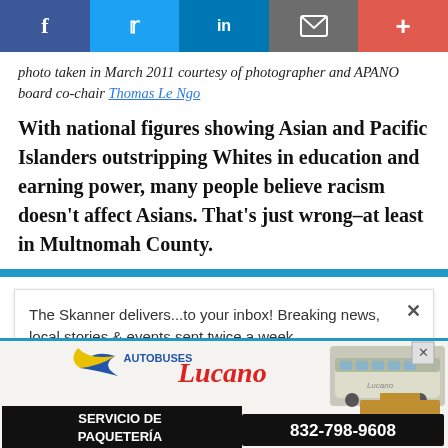Social share bar: Facebook, Twitter, LinkedIn, Email, More
photo taken in March 2011 courtesy of photographer and APANO board co-chair Thomas Le Ngo
With national figures showing Asian and Pacific Islanders outstripping Whites in education and earning power, many people believe racism doesn't affect Asians. That's just wrong–at least in Multnomah County.
[Figure (screenshot): Newsletter subscription popup: 'The Skanner delivers...to your inbox! Breaking news, local stories & events sent twice a week' with a Subscribe button and close X button]
[Figure (photo): Advertisement for Autobuses Lucano showing a bus and cardboard boxes with text 'SERVICIO DE PAQUETERÍA 832-798-9608']